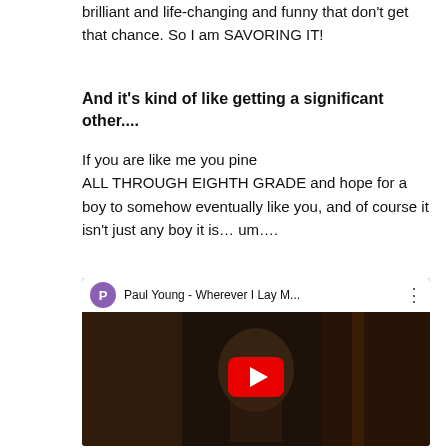brilliant and life-changing and funny that don't get that chance. So I am SAVORING IT!
And it's kind of like getting a significant other....
If you are like me you pine ALL THROUGH EIGHTH GRADE and hope for a boy to somehow eventually like you, and of course it isn't just any boy it is… um….
[Figure (screenshot): YouTube video embed showing Paul Young - Wherever I Lay M... with a purple P avatar, three-dot menu, and a play button over a dark video thumbnail of a person on the phone.]